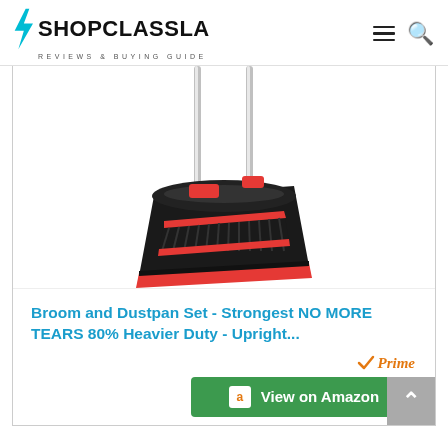SHOPCLASSLA - REVIEWS & BUYING GUIDE
[Figure (photo): A black and red broom and dustpan set with long chrome handles, shown from above at an angle. The broom has red bristles and the dustpan is black with red trim.]
Broom and Dustpan Set - Strongest NO MORE TEARS 80% Heavier Duty - Upright...
[Figure (logo): Amazon Prime badge - orange checkmark and 'Prime' text in orange italic]
View on Amazon